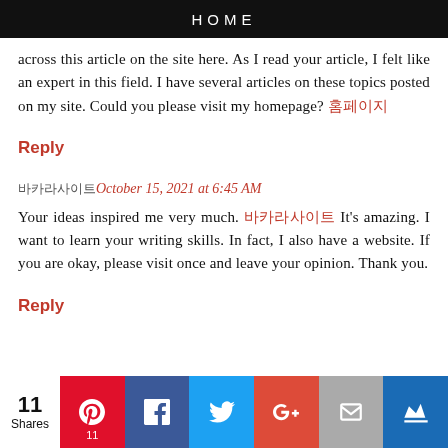HOME
across this article on the site here. As I read your article, I felt like an expert in this field. I have several articles on these topics posted on my site. Could you please visit my homepage? 홈페이지
Reply
바카라사이트October 15, 2021 at 6:45 AM
Your ideas inspired me very much. 바카라사이트 It's amazing. I want to learn your writing skills. In fact, I also have a website. If you are okay, please visit once and leave your opinion. Thank you.
Reply
[Figure (infographic): Social sharing bar with 11 Shares, Pinterest (11), Facebook, Twitter, Google+, Email, and crown/bookmark icons]